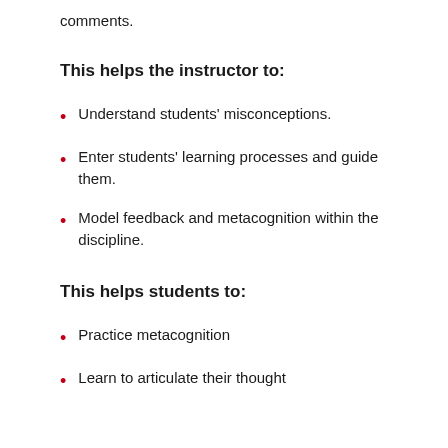comments.
This helps the instructor to:
Understand students' misconceptions.
Enter students' learning processes and guide them.
Model feedback and metacognition within the discipline.
This helps students to:
Practice metacognition
Learn to articulate their thought